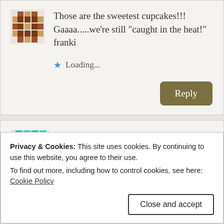Those are the sweetest cupcakes!!! Gaaaa.....we're still "caught in the heat!" franki
Loading...
Reply
Kitty
July 21, 2017 at 9:18 am
Privacy & Cookies: This site uses cookies. By continuing to use this website, you agree to their use.
To find out more, including how to control cookies, see here: Cookie Policy
Close and accept
they'd love them, and I already have